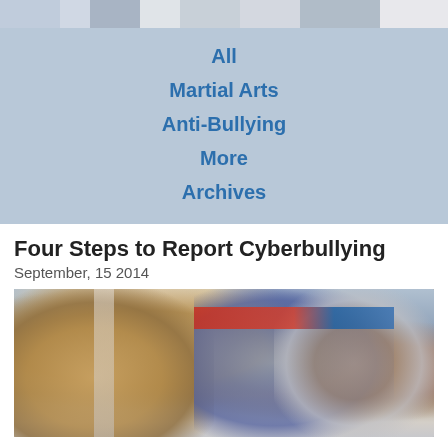[Figure (photo): Top navigation banner with partial photo strip showing people/scenes]
All
Martial Arts
Anti-Bullying
More
Archives
Four Steps to Report Cyberbullying
September, 15 2014
[Figure (photo): Photo of three people at a transit station looking at smartphones — two men and one woman in an urban setting under an elevated structure]